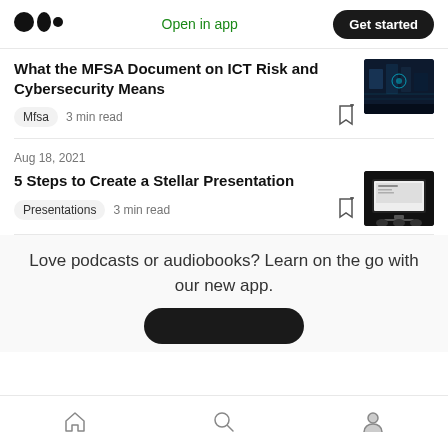Medium logo | Open in app | Get started
What the MFSA Document on ICT Risk and Cybersecurity Means
Mfsa   3 min read
Aug 18, 2021
5 Steps to Create a Stellar Presentation
Presentations   3 min read
Love podcasts or audiobooks? Learn on the go with our new app.
Home | Search | Profile